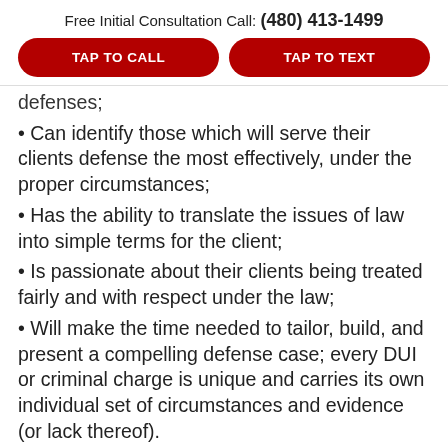Free Initial Consultation Call: (480) 413-1499
TAP TO CALL
TAP TO TEXT
defenses;
• Can identify those which will serve their clients defense the most effectively, under the proper circumstances;
• Has the ability to translate the issues of law into simple terms for the client;
• Is passionate about their clients being treated fairly and with respect under the law;
• Will make the time needed to tailor, build, and present a compelling defense case; every DUI or criminal charge is unique and carries its own individual set of circumstances and evidence (or lack thereof).
• A good DUI or criminal defense lawyer will exhaust all means possible to get the best